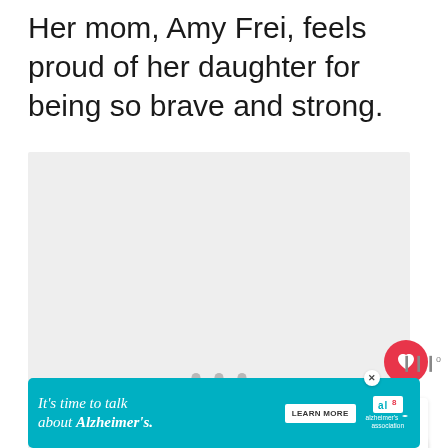Her mom, Amy Frei, feels proud of her daughter for being so brave and strong.
[Figure (other): Large light gray rectangular area serving as a video/image placeholder with three pagination dots below it. Social interaction buttons (like heart, count 3, share) on the right side. A 'What's Next' thumbnail with text 'Homeless dog with broken...' partially visible at bottom right.]
[Figure (other): Advertisement banner: teal/cyan background. Text reads: It's time to talk about Alzheimer's. Learn More button. Alzheimer's Association logo with AL abbreviation box and red X close button.]